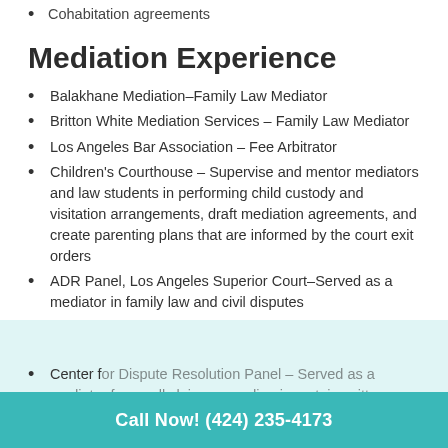Cohabitation agreements
Mediation Experience
Balakhane Mediation–Family Law Mediator
Britton White Mediation Services – Family Law Mediator
Los Angeles Bar Association – Fee Arbitrator
Children's Courthouse – Supervise and mentor mediators and law students in performing child custody and visitation arrangements, draft mediation agreements, and create parenting plans that are informed by the court exit orders
ADR Panel, Los Angeles Superior Court–Served as a mediator in family law and civil disputes
LA Mediate, Family Law Mediator Panel –Served as a Family Law Mediator
Center for Dispute Resolution Panel – Served as a mediator in for small claims regarding in certain written settlement agreements
Call Now! (424) 235-4173